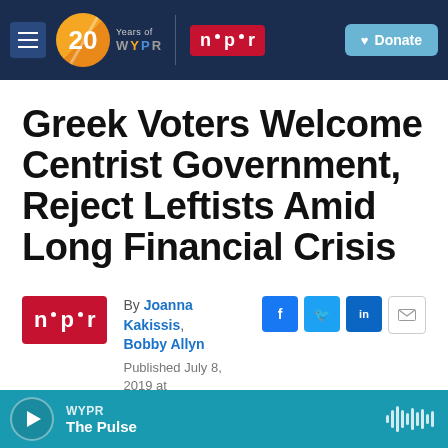[Figure (screenshot): WYPR 20 Years logo with NPR logo and Donate button in dark navy navigation bar]
Greek Voters Welcome Centrist Government, Reject Leftists Amid Long Financial Crisis
By Joanna Kakissis, Bobby Allyn
Published July 8, 2019 at 8:19 AM EDT
[Figure (logo): NPR logo in red rectangle]
[Figure (screenshot): WYPR The Pulse audio player bar in teal blue at bottom]